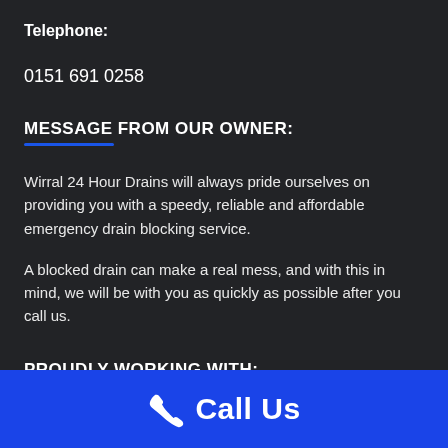Telephone:
0151 691 0258
MESSAGE FROM OUR OWNER:
Wirral 24 Hour Drains will always pride ourselves on providing you with a speedy, reliable and affordable emergency drain blocking service.
A blocked drain can make a real mess, and with this in mind, we will be with you as quickly as possible after you call us.
PROUDLY WORKING WITH:
Call Us